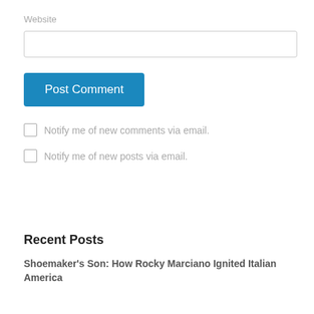Website
[Figure (other): Text input field for website URL]
[Figure (other): Post Comment button, blue background]
Notify me of new comments via email.
Notify me of new posts via email.
Recent Posts
Shoemaker's Son: How Rocky Marciano Ignited Italian America